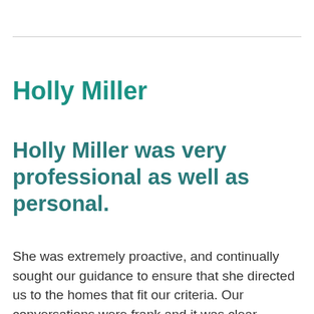Holly Miller
Holly Miller was very professional as well as personal.
She was extremely proactive, and continually sought our guidance to ensure that she directed us to the homes that fit our criteria. Our conversations were frank and it was clear